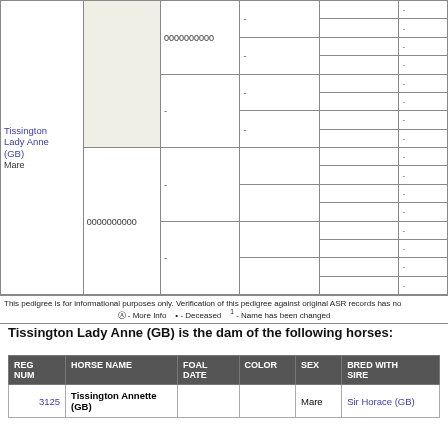| Tissington Lady Anne (GB) Mare |  | 0000000000 | - | - | - |
|  |  | 0000000000 | - | - | - |
This pedigree is for informational purposes only. Verification of this pedigree against original ASR records has no... ⓘ - More Info  • - Deceased  1 - Name has been changed
Tissington Lady Anne (GB) is the dam of the following horses:
| REG NUM | HORSE NAME | FOAL DATE | COLOR | SEX | BRED WITH SIRE |
| --- | --- | --- | --- | --- | --- |
| 3125 | Tissington Annette (GB) |  |  | Mare | Sir Horace (GB) |